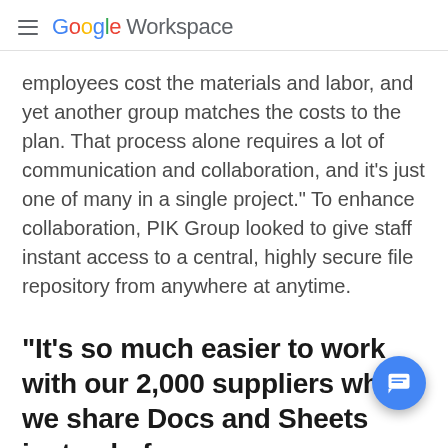Google Workspace
employees cost the materials and labor, and yet another group matches the costs to the plan. That process alone requires a lot of communication and collaboration, and it’s just one of many in a single project.” To enhance collaboration, PIK Group looked to give staff instant access to a central, highly secure file repository from anywhere at anytime.
“It’s so much easier to work with our 2,000 suppliers when we share Docs and Sheets instead of